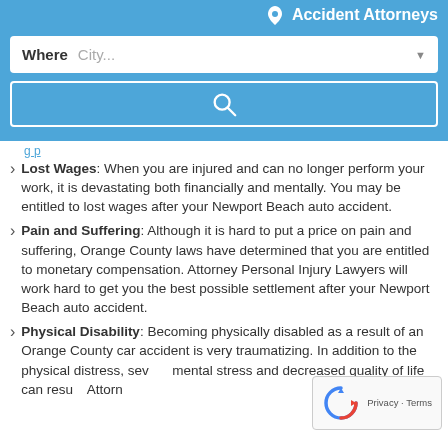Accident Attorneys
[Figure (screenshot): Search widget with 'Where City...' dropdown field and a blue search button with magnifying glass icon]
Lost Wages: When you are injured and can no longer perform your work, it is devastating both financially and mentally. You may be entitled to lost wages after your Newport Beach auto accident.
Lost Wages: When you are injured and can no longer perform your work, it is devastating both financially and mentally. You may be entitled to lost wages after your Newport Beach auto accident.
Pain and Suffering: Although it is hard to put a price on pain and suffering, Orange County laws have determined that you are entitled to monetary compensation. Attorney Personal Injury Lawyers will work hard to get you the best possible settlement after your Newport Beach auto accident.
Physical Disability: Becoming physically disabled as a result of an Orange County car accident is very traumatizing. In addition to the physical distress, severe mental stress and decreased quality of life can result. Attorney Personal Injury Lawyers will fight to...